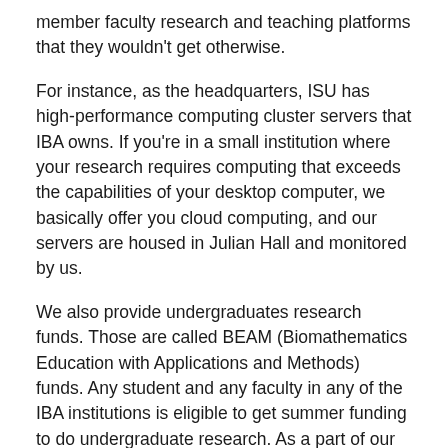member faculty research and teaching platforms that they wouldn't get otherwise.
For instance, as the headquarters, ISU has high-performance computing cluster servers that IBA owns. If you're in a small institution where your research requires computing that exceeds the capabilities of your desktop computer, we basically offer you cloud computing, and our servers are housed in Julian Hall and monitored by us.
We also provide undergraduates research funds. Those are called BEAM (Biomathematics Education with Applications and Methods) funds. Any student and any faculty in any of the IBA institutions is eligible to get summer funding to do undergraduate research. As a part of our emphasis on undergraduate research, about four years ago, we organized the undergraduate research program called CURE (Cross Institutional Undergraduate